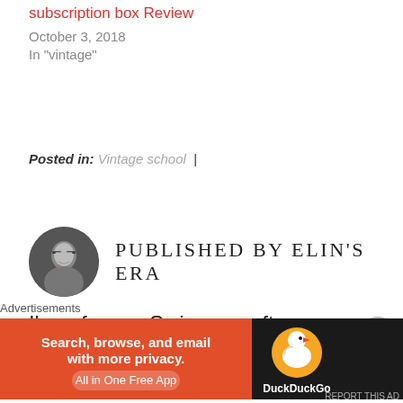subscription box Review
October 3, 2018
In "vintage"
Posted in: Vintage school |
PUBLISHED BY ELIN'S ERA
[Figure (photo): Circular avatar photo of a woman with glasses and dark hair, resting her chin on her hand]
I'm a former Swimmer, after getting nerve damage in my jaw I started
Advertisements
[Figure (infographic): DuckDuckGo advertisement banner: orange left section with text 'Search, browse, and email with more privacy. All in One Free App', dark right section with DuckDuckGo duck logo and brand name]